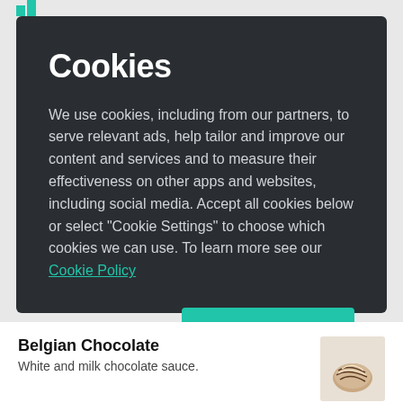[Figure (logo): Teal logo mark at top left of page header bar]
Cookies
We use cookies, including from our partners, to serve relevant ads, help tailor and improve our content and services and to measure their effectiveness on other apps and websites, including social media. Accept all cookies below or select “Cookie Settings” to choose which cookies we can use. To learn more see our Cookie Policy
Cookie Settings
Accept All Cookies
Belgian Chocolate
White and milk chocolate sauce.